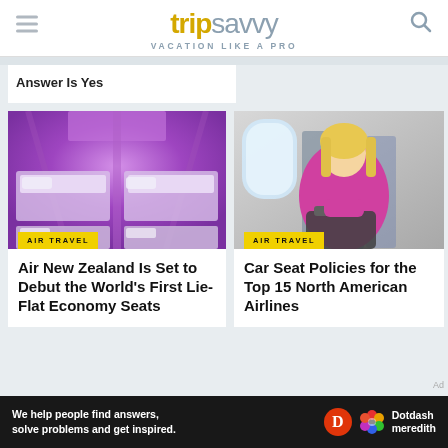tripsavvy VACATION LIKE A PRO
Answer Is Yes
[Figure (photo): Purple-lit airplane sleeping pods/lie-flat economy seats from Air New Zealand]
AIR TRAVEL
Air New Zealand Is Set to Debut the World's First Lie-Flat Economy Seats
[Figure (photo): Woman in pink top sitting in airplane seat with carry-on bag]
AIR TRAVEL
Car Seat Policies for the Top 15 North American Airlines
We help people find answers, solve problems and get inspired.
[Figure (logo): Dotdash Meredith logo with red D circle and colorful dots flower]